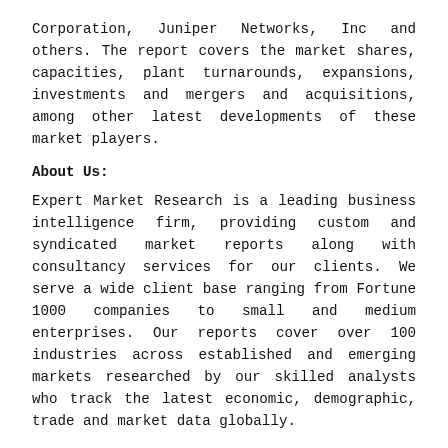Corporation, Juniper Networks, Inc and others. The report covers the market shares, capacities, plant turnarounds, expansions, investments and mergers and acquisitions, among other latest developments of these market players.
About Us:
Expert Market Research is a leading business intelligence firm, providing custom and syndicated market reports along with consultancy services for our clients. We serve a wide client base ranging from Fortune 1000 companies to small and medium enterprises. Our reports cover over 100 industries across established and emerging markets researched by our skilled analysts who track the latest economic, demographic, trade and market data globally.
At Expert Market Research, we tailor our approach according to our clients' needs and preferences, providing them with valuable, actionable and up-to-date insights into the market, thus, helping them realize their optimum growth potential. We offer market intelligence across a range of